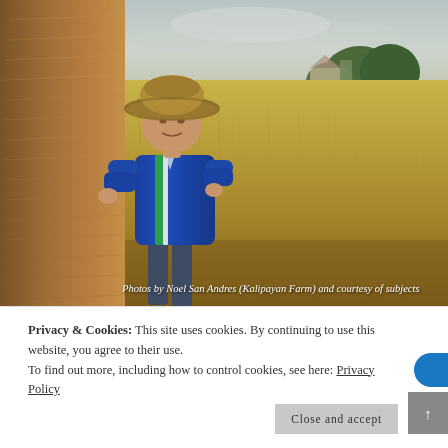[Figure (photo): A Filipino farmer wearing a straw hat and blue long-sleeve shirt with green and white stripes stands beside a large hay bale, with a golden rice field in the background under an overcast sky.]
Photos by Noel San Andres (Kalipayan Farm) and courtesy of subjects
Privacy & Cookies: This site uses cookies. By continuing to use this website, you agree to their use.
To find out more, including how to control cookies, see here: Privacy Policy